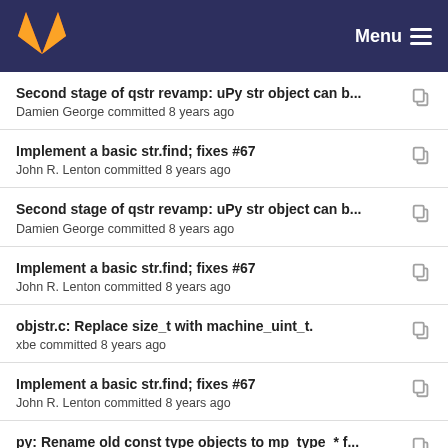Menu
Second stage of qstr revamp: uPy str object can b...
Damien George committed 8 years ago
Implement a basic str.find; fixes #67
John R. Lenton committed 8 years ago
Second stage of qstr revamp: uPy str object can b...
Damien George committed 8 years ago
Implement a basic str.find; fixes #67
John R. Lenton committed 8 years ago
objstr.c: Replace size_t with machine_uint_t.
xbe committed 8 years ago
Implement a basic str.find; fixes #67
John R. Lenton committed 8 years ago
py: Rename old const type objects to mp_type_* f...
Damien George committed 8 years ago
Implement a basic str.find; fixes #67